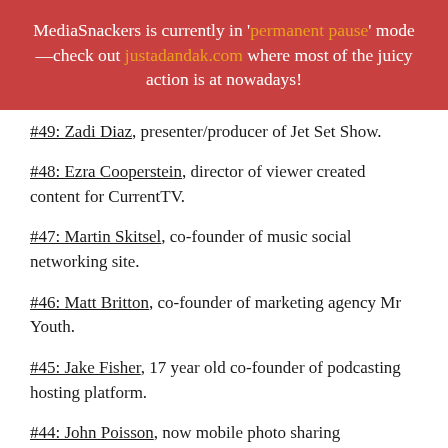MediaSnackers is currently in 'permanent pause' mode—check out justadandak.com where most of the juicy action is at nowadays!
#49: Zadi Diaz, presenter/producer of Jet Set Show.
#48: Ezra Cooperstein, director of viewer created content for CurrentTV.
#47: Martin Skitsel, co-founder of music social networking site.
#46: Matt Britton, co-founder of marketing agency Mr Youth.
#45: Jake Fisher, 17 year old co-founder of podcasting hosting platform.
#44: John Poisson, now mobile photo sharing